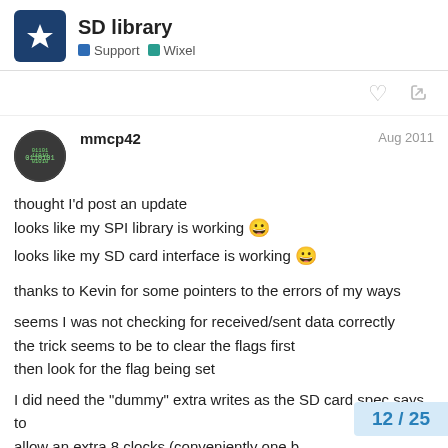SD library | Support | Wixel
thought I'd post an update
looks like my SPI library is working 😀
looks like my SD card interface is working 😀

thanks to Kevin for some pointers to the errors of my ways

seems I was not checking for received/sent data correctly
the trick seems to be to clear the flags first
then look for the flag being set

I did need the "dummy" extra writes as the SD card spec says to allow an extra 8 clocks (conveniently one b… commands to allow the command to finish
12 / 25